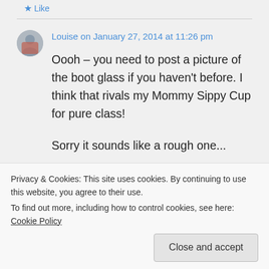Like
Louise on January 27, 2014 at 11:26 pm
Oooh – you need to post a picture of the boot glass if you haven't before. I think that rivals my Mommy Sippy Cup for pure class!

Sorry it sounds like a rough one...
Privacy & Cookies: This site uses cookies. By continuing to use this website, you agree to their use.
To find out more, including how to control cookies, see here: Cookie Policy
Close and accept